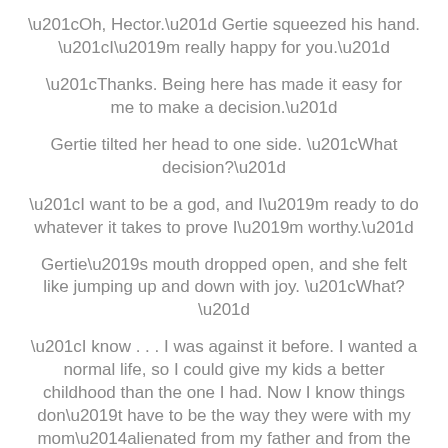“Oh, Hector.” Gertie squeezed his hand. “I’m really happy for you.”
“Thanks. Being here has made it easy for me to make a decision.”
Gertie tilted her head to one side. “What decision?”
“I want to be a god, and I’m ready to do whatever it takes to prove I’m worthy.”
Gertie’s mouth dropped open, and she felt like jumping up and down with joy. “What?”
“I know . . . I was against it before. I wanted a normal life, so I could give my kids a better childhood than the one I had. Now I know things don’t have to be the way they were with my mom—alienated from my father and from the other gods.” He circled his arm around Gertie’s waist. “We can be a part of this life here on Mount Olympus. We can be gods together.”
Gertie thew her arms around him. “Really?”